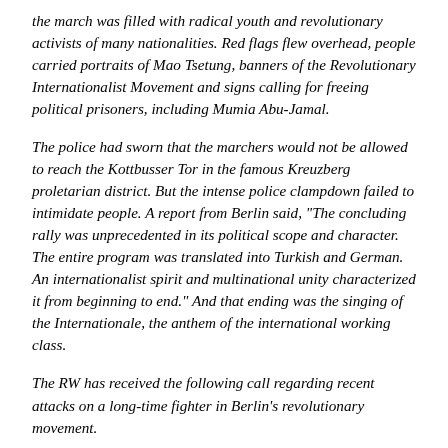the march was filled with radical youth and revolutionary activists of many nationalities. Red flags flew overhead, people carried portraits of Mao Tsetung, banners of the Revolutionary Internationalist Movement and signs calling for freeing political prisoners, including Mumia Abu-Jamal.
The police had sworn that the marchers would not be allowed to reach the Kottbusser Tor in the famous Kreuzberg proletarian district. But the intense police clampdown failed to intimidate people. A report from Berlin said, "The concluding rally was unprecedented in its political scope and character. The entire program was translated into Turkish and German. An internationalist spirit and multinational unity characterized it from beginning to end." And that ending was the singing of the Internationale, the anthem of the international working class.
The RW has received the following call regarding recent attacks on a long-time fighter in Berlin's revolutionary movement.
Emergency Call to Stop the Railroad of Moré Keskin!